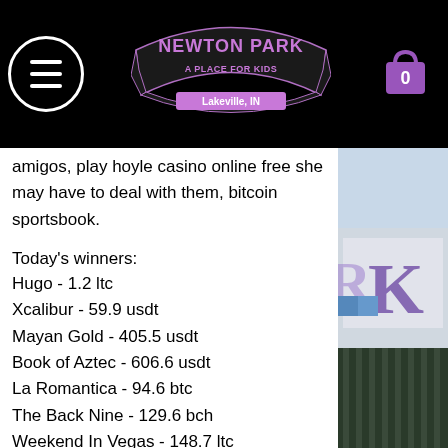[Figure (logo): Newton Park - A Place For Kids, Lakeville, IN logo with menu icon and shopping cart on black header bar]
amigos, play hoyle casino online free she may have to deal with them, bitcoin sportsbook.
Today's winners:
Hugo - 1.2 ltc
Xcalibur - 59.9 usdt
Mayan Gold - 405.5 usdt
Book of Aztec - 606.6 usdt
La Romantica - 94.6 btc
The Back Nine - 129.6 bch
Weekend In Vegas - 148.7 ltc
Maaax Diamonds Christmas Edition - 4 usdt
Jungle Boogie - 322.2 dog
Giant Riches - 200.9 bch
Joker Millions - 583.3 btc
Jenny Nevada and the Diamond Temple - 348.6 ltc